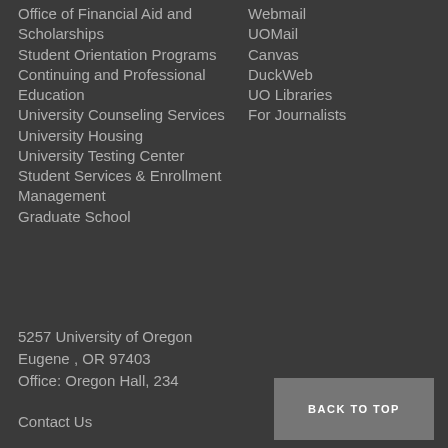Office of Financial Aid and Scholarships
Student Orientation Programs
Continuing and Professional Education
University Counseling Services
University Housing
University Testing Center
Student Services & Enrollment Management
Graduate School
Webmail
UOMail
Canvas
DuckWeb
UO Libraries
For Journalists
5257 University of Oregon
Eugene , OR 97403
Office: Oregon Hall, 234
Contact Us